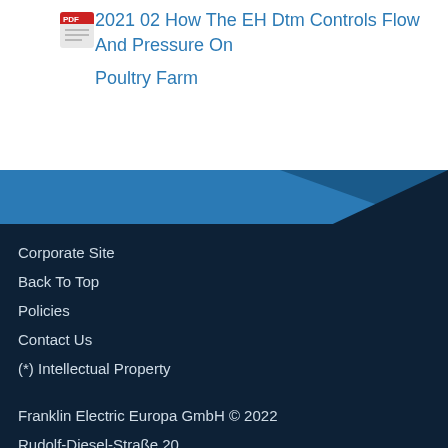2021 02 How The EH Dtm Controls Flow And Pressure On Poultry Farm
[Figure (illustration): Blue diagonal banner separating white content area from dark navy footer]
Corporate Site
Back To Top
Policies
Contact Us
(*) Intellectual Property
Franklin Electric Europa GmbH © 2022
Rudolf-Diesel-Straße 20,
D-54516 Wittlich, Germany